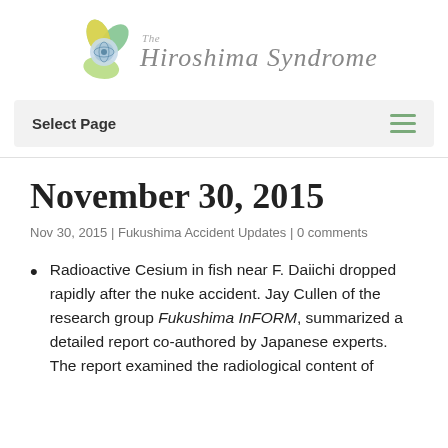[Figure (logo): The Hiroshima Syndrome website logo — a circular green and yellow atom/flower graphic on the left, with italic text 'The Hiroshima Syndrome' on the right in grey.]
Select Page
November 30, 2015
Nov 30, 2015 | Fukushima Accident Updates | 0 comments
Radioactive Cesium in fish near F. Daiichi dropped rapidly after the nuke accident. Jay Cullen of the research group Fukushima InFORM, summarized a detailed report co-authored by Japanese experts. The report examined the radiological content of